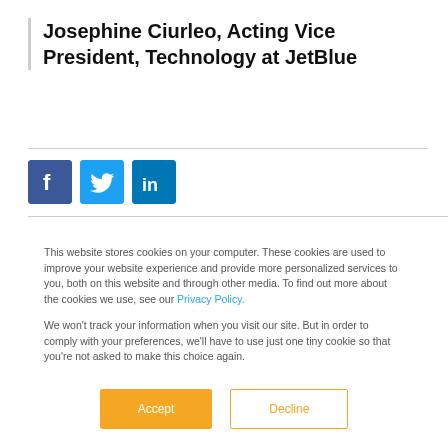Josephine Ciurleo, Acting Vice President, Technology at JetBlue
[Figure (other): Social media share icons: Facebook (blue square with 'f'), Twitter (light blue square with bird), LinkedIn (blue square with 'in')]
This website stores cookies on your computer. These cookies are used to improve your website experience and provide more personalized services to you, both on this website and through other media. To find out more about the cookies we use, see our Privacy Policy.
We won't track your information when you visit our site. But in order to comply with your preferences, we'll have to use just one tiny cookie so that you're not asked to make this choice again.